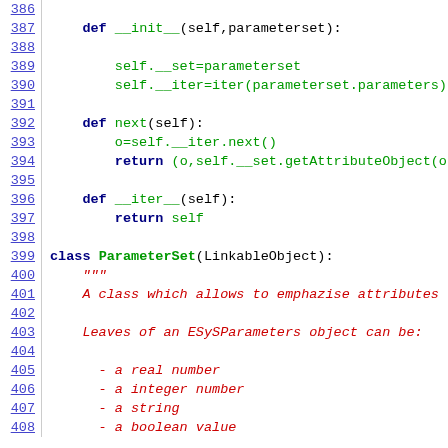Source code listing lines 386-408 showing Python class definitions with __init__, next, __iter__ methods and ParameterSet class docstring
387: def __init__(self,parameterset):
388: (blank)
389:     self.__set=parameterset
390:     self.__iter=iter(parameterset.parameters)
391: (blank)
392:     def next(self):
393:         o=self.__iter.next()
394:         return (o,self.__set.getAttributeObject(o)
395: (blank)
396:     def __iter__(self):
397:         return self
398: (blank)
399: class ParameterSet(LinkableObject):
400:     """
401:     A class which allows to emphazise attributes t
402: (blank)
403:     Leaves of an ESySParameters object can be:
404: (blank)
405:     - a real number
406:     - a integer number
407:     - a string
408:     - a boolean value